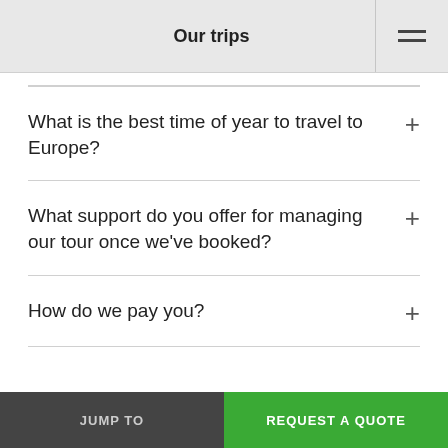Our trips
What is the best time of year to travel to Europe?
What support do you offer for managing our tour once we've booked?
How do we pay you?
JUMP TO | REQUEST A QUOTE